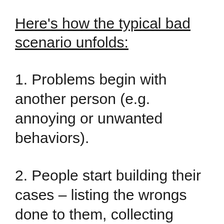Here's how the typical bad scenario unfolds:
1. Problems begin with another person (e.g. annoying or unwanted behaviors).
2. People start building their cases – listing the wrongs done to them, collecting corroborating evidence, and